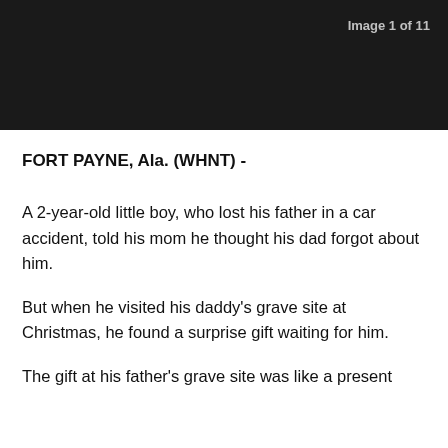Image 1 of 11
FORT PAYNE, Ala. (WHNT) -
A 2-year-old little boy, who lost his father in a car accident, told his mom he thought his dad forgot about him.
But when he visited his daddy’s grave site at Christmas, he found a surprise gift waiting for him.
The gift at his father’s grave site was like a present straight from above.